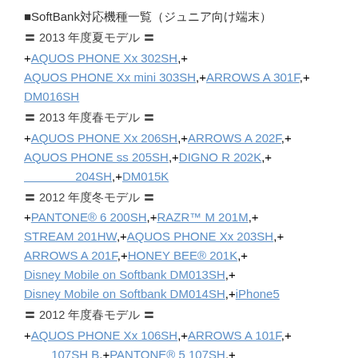■SoftBank対応機種一覧（ジュニア向け端末）
〓 2013 年度夏モデル 〓
+AQUOS PHONE Xx 302SH,+AQUOS PHONE Xx mini 303SH,+ARROWS A 301F,+DM016SH
〓 2013 年度春モデル 〓
+AQUOS PHONE Xx 206SH,+ARROWS A 202F,+AQUOS PHONE ss 205SH,+DIGNO R 202K,+シャープコラボ 204SH,+DM015K
〓 2012 年度冬モデル 〓
+PANTONE® 6 200SH,+RAZR™ M 201M,+STREAM 201HW,+AQUOS PHONE Xx 203SH,+ARROWS A 201F,+HONEY BEE® 201K,+Disney Mobile on Softbank DM013SH,+Disney Mobile on Softbank DM014SH,+iPhone5
〓 2012 年度春モデル 〓
+AQUOS PHONE Xx 106SH,+ARROWS A 101F,+エコ 107SH B,+PANTONE® 5 107SH,+AQUOS PHONE 102SHII